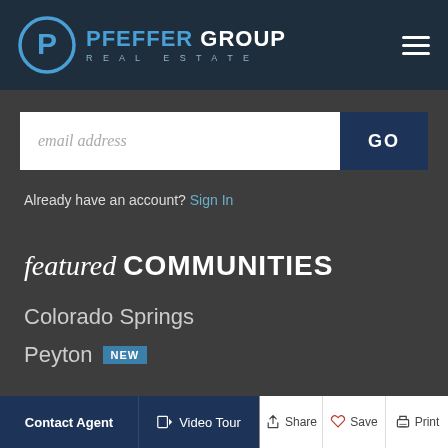[Figure (logo): Pfeffer Group Real Estate logo with circular P icon in blue and white, company name in white and blue text, tagline REAL ESTATE in spaced letters]
[Figure (other): Email address input field with placeholder text 'email address' and a dark blue GO button]
Already have an account? Sign In
featured COMMUNITIES
Colorado Springs
Peyton
[Figure (other): Bottom navigation bar with Contact Agent, Video Tour, Share, Save, and Print buttons]